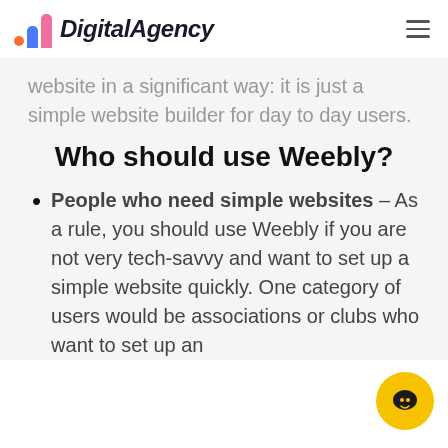DigitalAgency
website in a significant way: it is just a simple website builder for day to day users.
Who should use Weebly?
People who need simple websites – As a rule, you should use Weebly if you are not very tech-savvy and want to set up a simple website quickly. One category of users would be associations or clubs who want to set up an